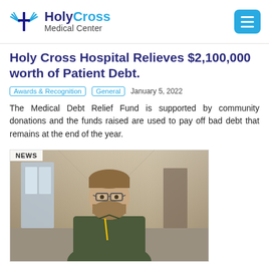[Figure (logo): Holy Cross Medical Center logo with stylized cross/wings icon in blue, text 'HolyCross Medical Center']
Holy Cross Hospital Relieves $2,100,000 worth of Patient Debt.
Awards & Recognition   General   January 5, 2022
The Medical Debt Relief Fund is supported by community donations and the funds raised are used to pay off bad debt that remains at the end of the year.
[Figure (photo): NEWS label overlay on photo of a bearded man with glasses wearing an olive green polo shirt, standing in a hospital hallway with blurred background]